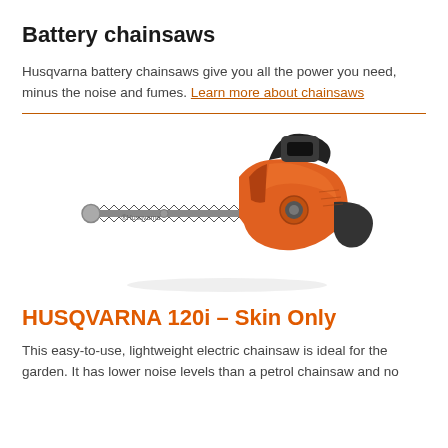Battery chainsaws
Husqvarna battery chainsaws give you all the power you need, minus the noise and fumes. Learn more about chainsaws
[Figure (photo): Husqvarna 120i battery chainsaw with orange body and black chain bar, shown on white background]
HUSQVARNA 120i – Skin Only
This easy-to-use, lightweight electric chainsaw is ideal for the garden. It has lower noise levels than a petrol chainsaw and no